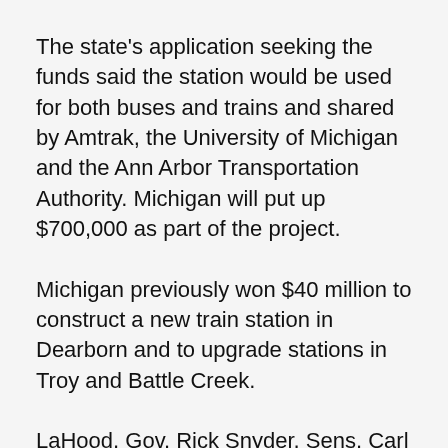The state's application seeking the funds said the station would be used for both buses and trains and shared by Amtrak, the University of Michigan and the Ann Arbor Transportation Authority. Michigan will put up $700,000 as part of the project.
Michigan previously won $40 million to construct a new train station in Dearborn and to upgrade stations in Troy and Battle Creek.
LaHood, Gov. Rick Snyder, Sens. Carl Levin, D-Detroit, and Debbie Stabenow, D-Lansing, and Reps. John Dingell, D-Dearborn, and Hansen Clarke, D-Detroit, are to attend an event today at the Detroit Amtrak station to announce the awards.